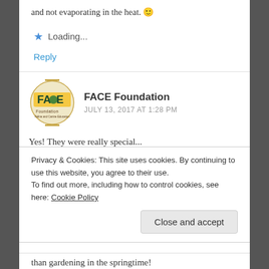and not evaporating in the heat. 🙂
Loading...
Reply
FACE Foundation
JULY 13, 2017 AT 1:28 PM
Yes! They were really special... loved their selection of natives from High Country Gardens. I
Privacy & Cookies: This site uses cookies. By continuing to use this website, you agree to their use.
To find out more, including how to control cookies, see here: Cookie Policy
Close and accept
than gardening in the springtime!